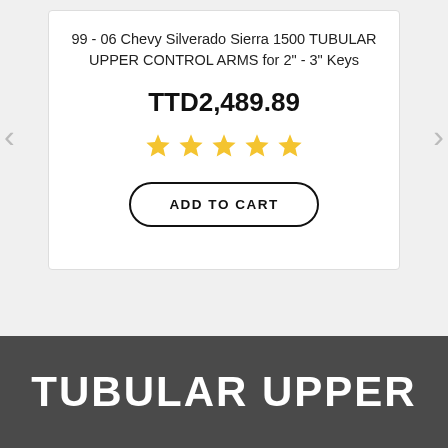99 - 06 Chevy Silverado Sierra 1500 TUBULAR UPPER CONTROL ARMS for 2" - 3" Keys
TTD2,489.89
[Figure (other): Five gold star rating icons]
ADD TO CART
TUBULAR UPPER